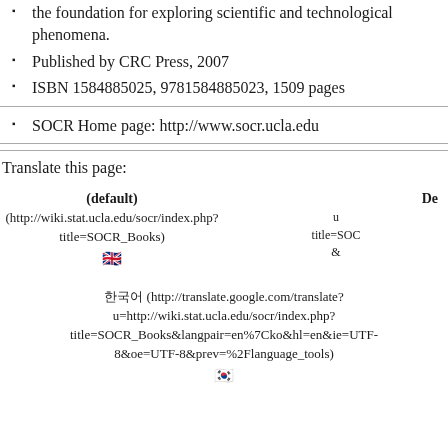the foundation for exploring scientific and technological phenomena.
Published by CRC Press, 2007
ISBN 1584885025, 9781584885023, 1509 pages
SOCR Home page: http://www.socr.ucla.edu
Translate this page:
(default) (http://wiki.stat.ucla.edu/socr/index.php?title=SOCR_Books)
한국어 (http://translate.google.com/translate?u=http://wiki.stat.ucla.edu/socr/index.php?title=SOCR_Books&langpair=en%7Cko&hl=en&ie=UTF-8&oe=UTF-8&prev=%2Flanguage_tools)